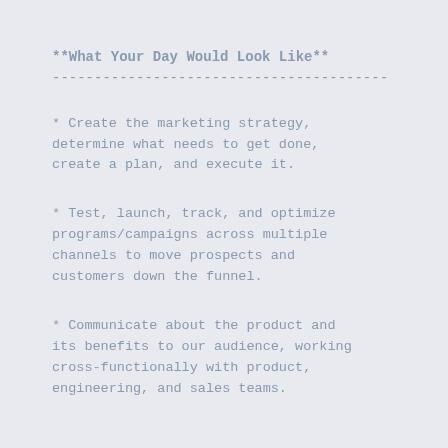**What Your Day Would Look Like**
----------------------------------------
* Create the marketing strategy, determine what needs to get done, create a plan, and execute it.
* Test, launch, track, and optimize programs/campaigns across multiple channels to move prospects and customers down the funnel.
* Communicate about the product and its benefits to our audience, working cross-functionally with product, engineering, and sales teams.